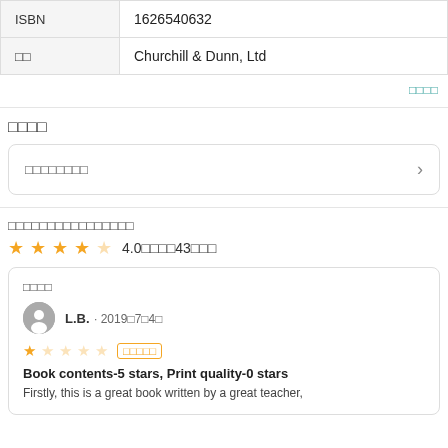|  |  |
| --- | --- |
| ISBN | 1626540632 |
| □□ | Churchill & Dunn, Ltd |
□□□□
□□□□
□□□□□□□□
□□□□□□□□□□□□□□□□
4.0□□□□43□□□
□□□□
L.B. · 2019□7□4□
□□□□□
Book contents-5 stars, Print quality-0 stars
Firstly, this is a great book written by a great teacher,